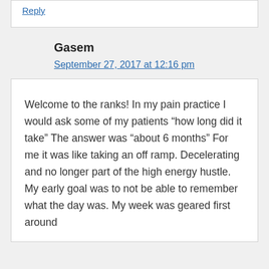Reply
Gasem
September 27, 2017 at 12:16 pm
Welcome to the ranks! In my pain practice I would ask some of my patients “how long did it take” The answer was “about 6 months” For me it was like taking an off ramp. Decelerating and no longer part of the high energy hustle. My early goal was to not be able to remember what the day was. My week was geared first around